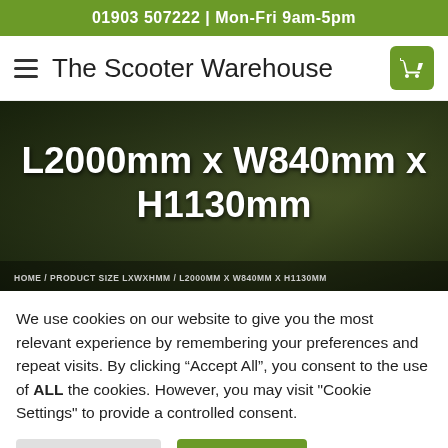01903 507222 | Mon-Fri 9am-5pm
The Scooter Warehouse
[Figure (screenshot): Hero image with dark green overlay showing scooter/motorcycle engine parts in background. Large white bold text reads: L2000mm x W840mm x H1130mm. Breadcrumb navigation bar at bottom: HOME / PRODUCT SIZE LXWXHMM / L2000MM X W840MM X H1130MM]
We use cookies on our website to give you the most relevant experience by remembering your preferences and repeat visits. By clicking "Accept All", you consent to the use of ALL the cookies. However, you may visit "Cookie Settings" to provide a controlled consent.